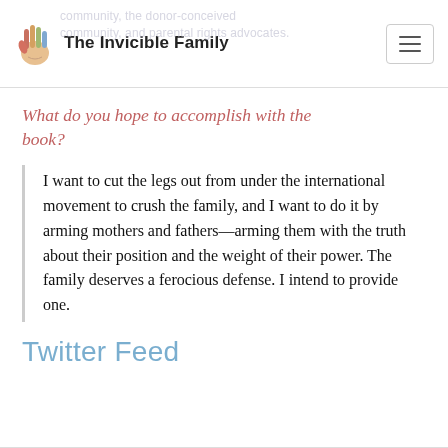The Invicible Family — community, the donor-conceived community, and parental rights advocates.
What do you hope to accomplish with the book?
I want to cut the legs out from under the international movement to crush the family, and I want to do it by arming mothers and fathers—arming them with the truth about their position and the weight of their power. The family deserves a ferocious defense. I intend to provide one.
Twitter Feed